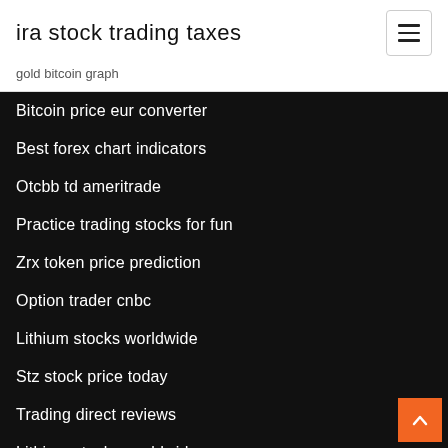ira stock trading taxes
gold bitcoin graph
Bitcoin price eur converter
Best forex chart indicators
Otcbb td ameritrade
Practice trading stocks for fun
Zrx token price prediction
Option trader cnbc
Lithium stocks worldwide
Stz stock price today
Trading direct reviews
Lithium stocks worldwide